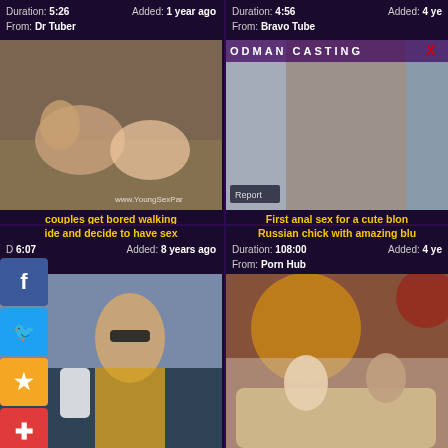Duration: 5:26  Added: 1 year ago  From: Dr Tuber
[Figure (photo): Video thumbnail showing adult content]
couples get bored walking ide and decide to have sex
Duration: 6:07  Added: 8 years ago  From: Sex
Duration: 4:56  Added: 4 years ago  From: Bravo Tube
[Figure (photo): Video thumbnail with ODMAN CASTING logo]
First anal sex for a cute blon Russian chick with amazing blu
Duration: 108:00  Added: 4 years ago  From: Porn Hub
[Figure (photo): Video thumbnail of woman outdoors in sunglasses and yellow jacket]
[Figure (photo): Video thumbnail of two people on a couch, animated background]